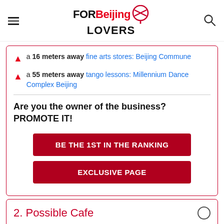FORBeijingLOVERS
a 16 meters away fine arts stores: Beijing Commune
a 55 meters away tango lessons: Millennium Dance Complex Beijing
Are you the owner of the business? PROMOTE IT!
BE THE 1ST IN THE RANKING
EXCLUSIVE PAGE
2. Possible Cafe